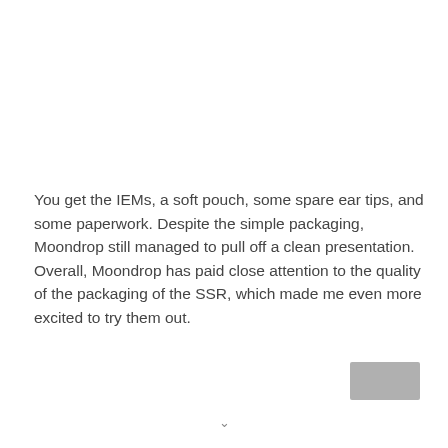You get the IEMs, a soft pouch, some spare ear tips, and some paperwork. Despite the simple packaging, Moondrop still managed to pull off a clean presentation. Overall, Moondrop has paid close attention to the quality of the packaging of the SSR, which made me even more excited to try them out.
[Figure (other): Small gray rectangle (partially visible) in the bottom-right corner, appears to be a button or image thumbnail element.]